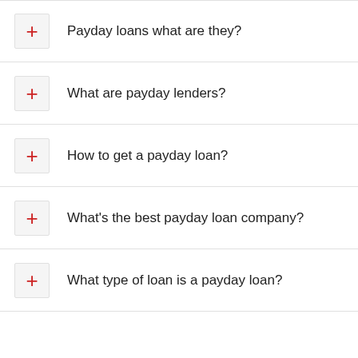Payday loans what are they?
What are payday lenders?
How to get a payday loan?
What's the best payday loan company?
What type of loan is a payday loan?